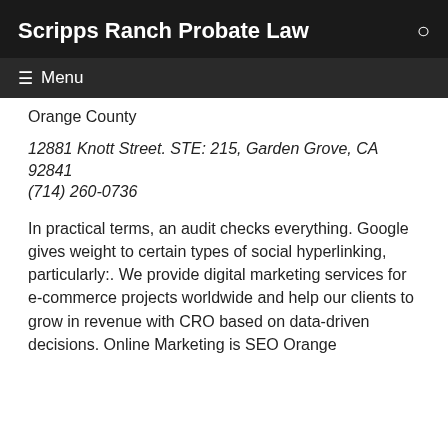Scripps Ranch Probate Law
Orange County
12881 Knott Street. STE: 215, Garden Grove, CA 92841
(714) 260-0736
In practical terms, an audit checks everything. Google gives weight to certain types of social hyperlinking, particularly:. We provide digital marketing services for e-commerce projects worldwide and help our clients to grow in revenue with CRO based on data-driven decisions. Online Marketing is SEO Orange